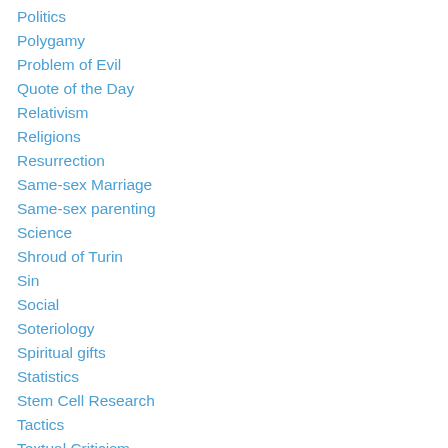Politics
Polygamy
Problem of Evil
Quote of the Day
Relativism
Religions
Resurrection
Same-sex Marriage
Same-sex parenting
Science
Shroud of Turin
Sin
Social
Soteriology
Spiritual gifts
Statistics
Stem Cell Research
Tactics
Textual Criticism
Theism